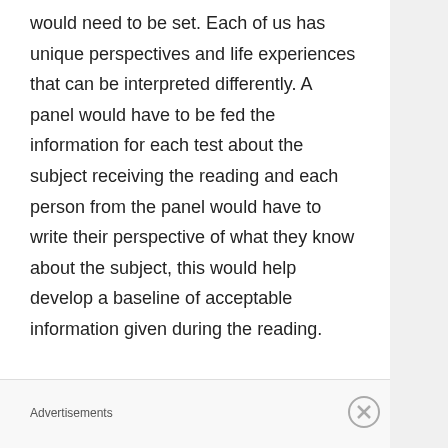would need to be set. Each of us has unique perspectives and life experiences that can be interpreted differently. A panel would have to be fed the information for each test about the subject receiving the reading and each person from the panel would have to write their perspective of what they know about the subject, this would help develop a baseline of acceptable information given during the reading.
1  A simple photo reading, no human
Advertisements